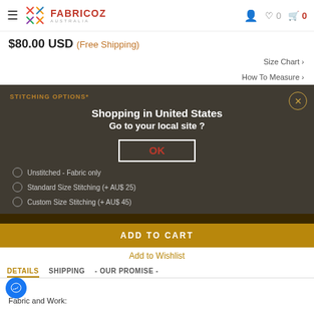[Figure (screenshot): Fabricoz Australia e-commerce website screenshot with a modal dialog]
$80.00 USD (Free Shipping)
Size Chart ›
How To Measure ›
STITCHING OPTIONS*
Shopping in United States
Go to your local site ?
OK
Unstitched - Fabric only
Standard Size Stitching (+ AU$ 25)
Custom Size Stitching (+ AU$ 45)
ADD TO CART
Add to Wishlist
DETAILS    SHIPPING    - OUR PROMISE -
Fabric and Work: